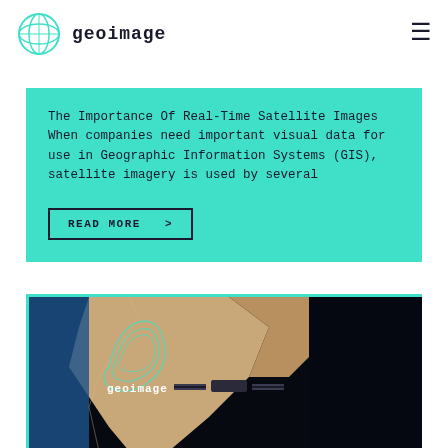geoimage
The Importance Of Real-Time Satellite Images When companies need important visual data for use in Geographic Information Systems (GIS), satellite imagery is used by several
READ MORE >
[Figure (photo): Satellite image of a coastal peninsula from space with geoimage logo overlay and space station in the foreground]